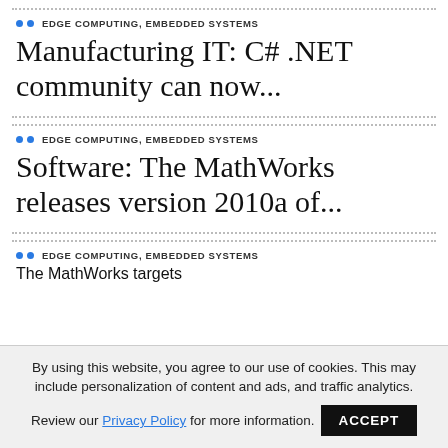EDGE COMPUTING, EMBEDDED SYSTEMS
Manufacturing IT: C# .NET community can now...
EDGE COMPUTING, EMBEDDED SYSTEMS
Software: The MathWorks releases version 2010a of...
EDGE COMPUTING, EMBEDDED SYSTEMS
The MathWorks targets
By using this website, you agree to our use of cookies. This may include personalization of content and ads, and traffic analytics. Review our Privacy Policy for more information.
ACCEPT